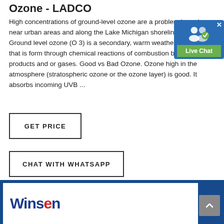Ozone - LADCO
High concentrations of ground-level ozone are a problem in and near urban areas and along the Lake Michigan shoreline. Ground level ozone (O 3) is a secondary, warm weather pollutant that is form through chemical reactions of combustion by-products and or gases. Good vs Bad Ozone. Ozone high in the atmosphere (stratospheric ozone or the ozone layer) is good. It absorbs incoming UVB ...
[Figure (other): Live Chat widget with blue background, person icon with green checkmark, and green 'Live Chat' label]
GET PRICE
CHAT WITH WHATSAPP
[Figure (logo): Winsen logo in blue and red on white background inside blue banner]